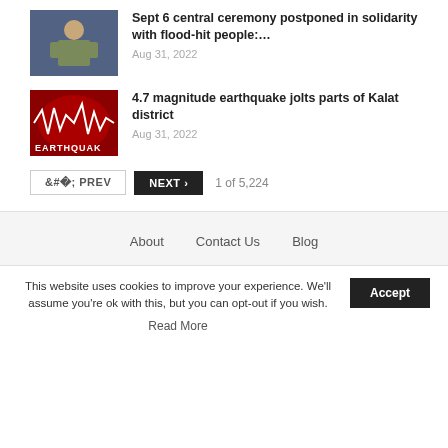[Figure (photo): Thumbnail image of a military official in uniform at a press conference]
Sept 6 central ceremony postponed in solidarity with flood-hit people:…
Aug 31, 2022
[Figure (photo): Red earthquake graphic with seismic wave pattern and text EARTHQUAK(E)]
4.7 magnitude earthquake jolts parts of Kalat district
Aug 31, 2022
PREV  NEXT  1 of 5,224
About   Contact Us   Blog
This website uses cookies to improve your experience. We'll assume you're ok with this, but you can opt-out if you wish.
Read More